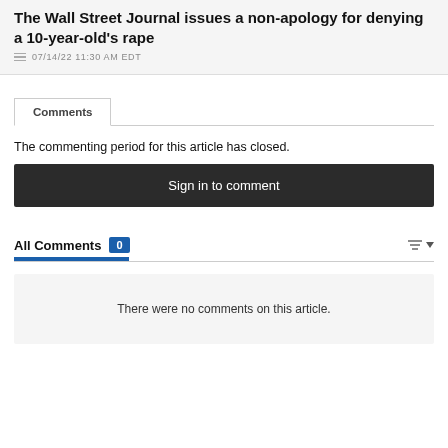The Wall Street Journal issues a non-apology for denying a 10-year-old's rape
07/14/22 11:30 AM EDT
Comments
The commenting period for this article has closed.
Sign in to comment
All Comments 0
There were no comments on this article.